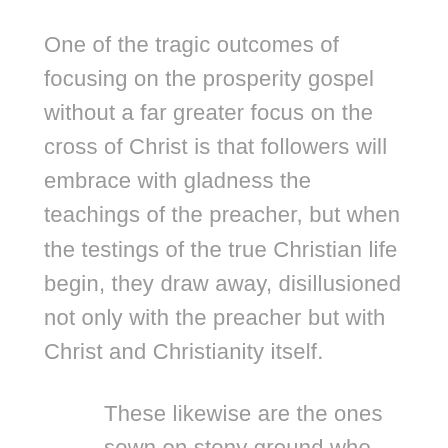One of the tragic outcomes of focusing on the prosperity gospel without a far greater focus on the cross of Christ is that followers will embrace with gladness the teachings of the preacher, but when the testings of the true Christian life begin, they draw away, disillusioned not only with the preacher but with Christ and Christianity itself.
These likewise are the ones sown on stony ground who, when they hear the word, immediately receive it with gladness; and they have no root in themselves, and so endure only for a